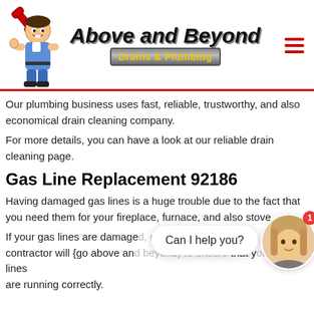[Figure (logo): Above and Beyond Drains & Plumbing logo with cartoon plumber mascot holding a wrench]
Our plumbing business uses fast, reliable, trustworthy, and also economical drain cleaning company.
For more details, you can have a look at our reliable drain cleaning page.
Gas Line Replacement 92186
Having damaged gas lines is a huge trouble due to the fact that you need them for your fireplace, furnace, and also stove.
If your gas lines are damaged, our knowledgeable contractor will {go above and beyond} to ensure that your gas lines are running correctly.
[Figure (illustration): Live chat widget with female avatar and 'Can I help you?' bubble]